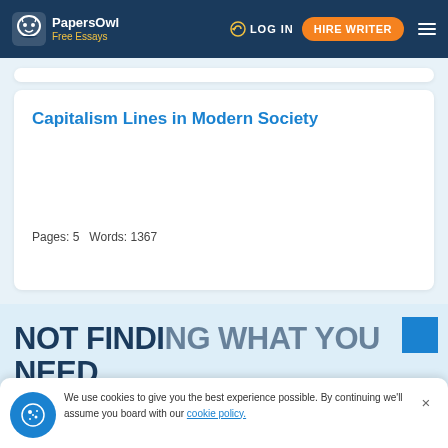PapersOwl Free Essays | LOG IN | HIRE WRITER
Capitalism Lines in Modern Society
Pages: 5   Words: 1367
NOT FINDING WHAT YOU NEED
We use cookies to give you the best experience possible. By continuing we'll assume you board with our cookie policy.